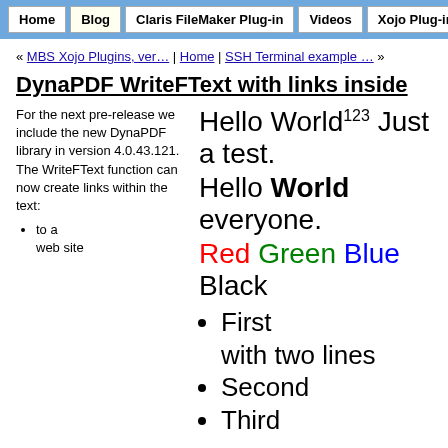Home | Blog | Claris FileMaker Plug-in | Videos | Xojo Plug-ins
« MBS Xojo Plugins, ver… | Home | SSH Terminal example … »
DynaPDF WriteFText with links inside
For the next pre-release we include the new DynaPDF library in version 4.0.43.121. The WriteFText function can now create links within the text:
to a web site
[Figure (illustration): Demo text showing: 'Hello World^123 Just a test.', 'Hello World everyone.' (World in bold), 'Red Green Blue Black' (each word in respective color), and a bullet list: First with two lines, Second, Third]